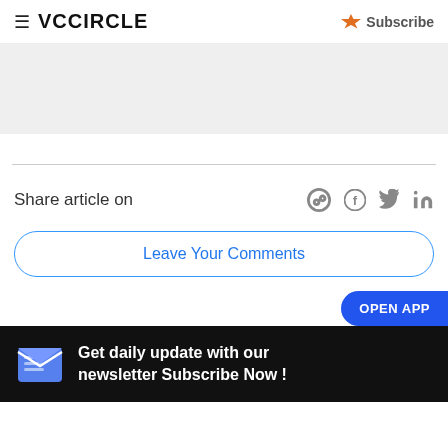VCCiRCLE  Subscribe
[Figure (other): Gray advertisement banner placeholder]
Share article on
Leave Your Comments
OPEN APP
Get daily update with our newsletter Subscribe Now !